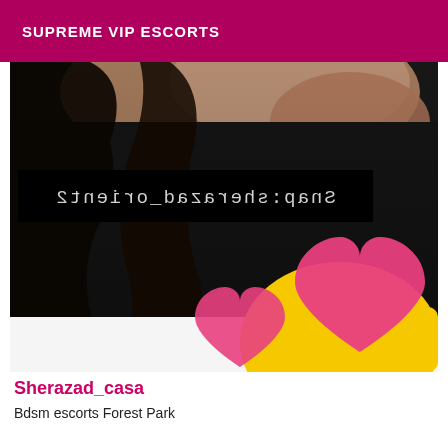SUPREME VIP ESCORTS
[Figure (photo): Photo of a person with dark hair lying down, wearing dark clothing, with a mirrored Snapchat username overlay text 'Snap:sherazad_orient2', and emoji heart stickers (pink hearts over yellow shape) in lower right corner]
Sherazad_casa
Bdsm escorts Forest Park